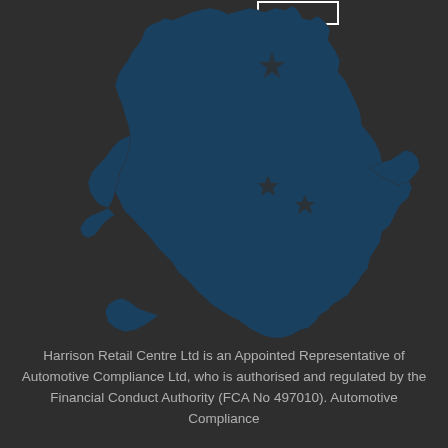[Figure (map): Silhouette map of England and Wales in dark blue/teal color on a dark grey background, with star/burst markers indicating dealer locations. A white rectangular outline box appears at the top center of the map.]
Harrison Retail Centre Ltd is an Appointed Representative of Automotive Compliance Ltd, who is authorised and regulated by the Financial Conduct Authority (FCA No 497010). Automotive Compliance